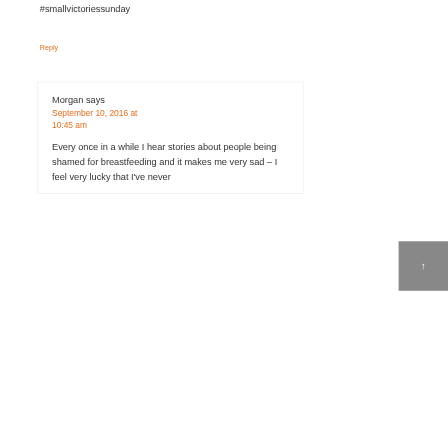#smallvictoriessunday
Reply
Morgan says
September 10, 2016 at 10:45 am
Every once in a while I hear stories about people being shamed for breastfeeding and it makes me very sad – I feel very lucky that I've never